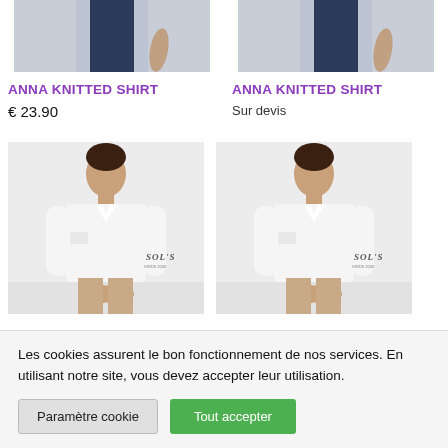[Figure (photo): Cropped product photo showing lower half of male mannequin in dark navy trousers - left product]
[Figure (photo): Cropped product photo showing lower half of male mannequin in dark navy trousers - right product]
ANNA KNITTED SHIRT
€ 23.90
ANNA KNITTED SHIRT
Sur devis
[Figure (photo): Male model wearing white long sleeve shirt, smiling, SOLS watermark, light background - left]
[Figure (photo): Male model wearing white long sleeve shirt, smiling, SOLS watermark, light background - right]
Les cookies assurent le bon fonctionnement de nos services. En utilisant notre site, vous devez accepter leur utilisation.
Paramètre cookie
Tout accepter